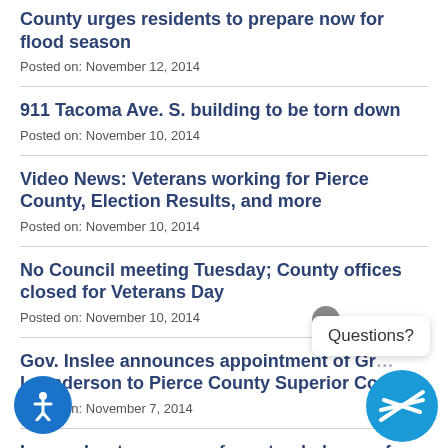County urges residents to prepare now for flood season
Posted on: November 12, 2014
911 Tacoma Ave. S. building to be torn down
Posted on: November 10, 2014
Video News: Veterans working for Pierce County, Election Results, and more
Posted on: November 10, 2014
No Council meeting Tuesday; County offices closed for Veterans Day
Posted on: November 10, 2014
Gov. Inslee announces appointment of Gr… Leanderson to Pierce County Superior Court
Posted on: November 7, 2014
Learn about resources for extended care of a loved one